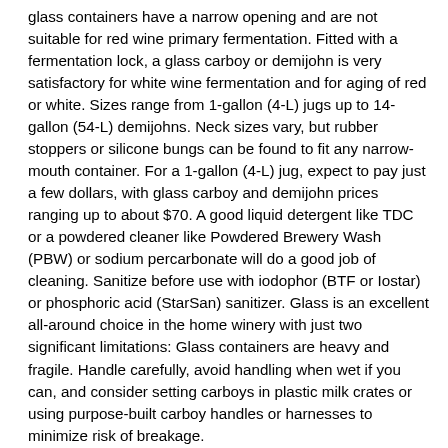glass containers have a narrow opening and are not suitable for red wine primary fermentation. Fitted with a fermentation lock, a glass carboy or demijohn is very satisfactory for white wine fermentation and for aging of red or white. Sizes range from 1-gallon (4-L) jugs up to 14-gallon (54-L) demijohns. Neck sizes vary, but rubber stoppers or silicone bungs can be found to fit any narrow-mouth container. For a 1-gallon (4-L) jug, expect to pay just a few dollars, with glass carboy and demijohn prices ranging up to about $70. A good liquid detergent like TDC or a powdered cleaner like Powdered Brewery Wash (PBW) or sodium percarbonate will do a good job of cleaning. Sanitize before use with iodophor (BTF or Iostar) or phosphoric acid (StarSan) sanitizer. Glass is an excellent all-around choice in the home winery with just two significant limitations: Glass containers are heavy and fragile. Handle carefully, avoid handling when wet if you can, and consider setting carboys in plastic milk crates or using purpose-built carboy handles or harnesses to minimize risk of breakage.